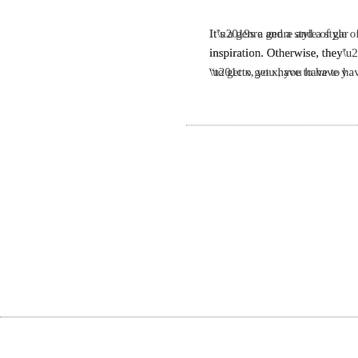It’s a genre and a style of gar inspiration. Otherwise, they’ “to get x, you have to have y